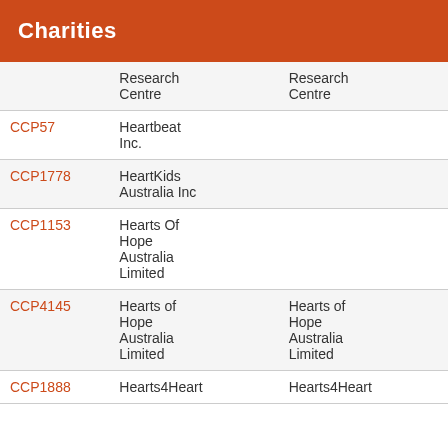Charities
|  | Name | Also known as |
| --- | --- | --- |
|  | Research Centre | Research Centre |
| CCP57 | Heartbeat Inc. |  |
| CCP1778 | HeartKids Australia Inc |  |
| CCP1153 | Hearts Of Hope Australia Limited |  |
| CCP4145 | Hearts of Hope Australia Limited | Hearts of Hope Australia Limited |
| CCP1888 | Hearts4Heart | Hearts4Heart |